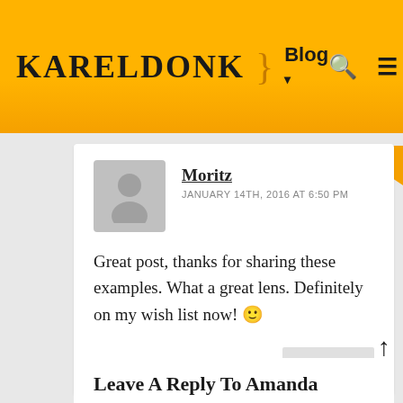KARELDONK } Blog
Moritz
JANUARY 14TH, 2016 AT 6:50 PM
Great post, thanks for sharing these examples. What a great lens. Definitely on my wish list now! 🙂
REPLY
Leave A Reply To Amanda